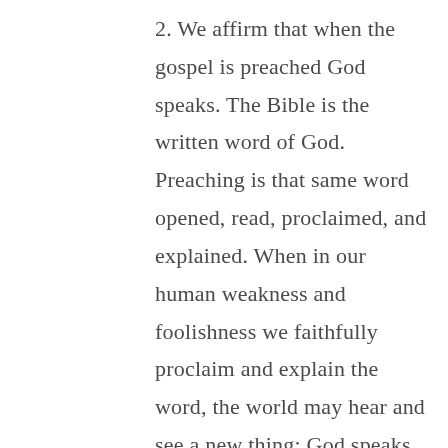2. We affirm that when the gospel is preached God speaks. The Bible is the written word of God. Preaching is that same word opened, read, proclaimed, and explained. When in our human weakness and foolishness we faithfully proclaim and explain the word, the world may hear and see a new thing; God speaks and God acts. To respond in obedient faith results in a decisive encounter with God. We affirm that God speaks profound truth in simple words, common language, and potent metaphor, and we confess that at times our words, too often shallow, obscure, archaic or irrelevant, have veiled, not revealed, God...